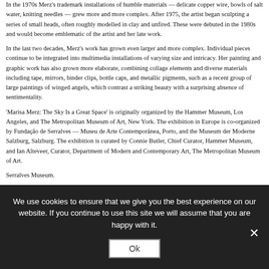In the 1970s Merz's trademark installations of humble materials — delicate copper wire, bowls of salt water, knitting needles — grew more and more complex. After 1975, the artist began sculpting a series of small heads, often roughly modelled in clay and unfired. These were debuted in the 1980s and would become emblematic of the artist and her late work.
In the last two decades, Merz's work has grown even larger and more complex. Individual pieces continue to be integrated into multimedia installations of varying size and intricacy. Her painting and graphic work has also grown more elaborate, combining collage elements and diverse materials including tape, mirrors, binder clips, bottle caps, and metallic pigments, such as a recent group of large paintings of winged angels, which contrast a striking beauty with a surprising absence of sentimentality.
'Marisa Merz: The Sky Is a Great Space' is originally organized by the Hammer Museum, Los Angeles, and The Metropolitan Museum of Art, New York. The exhibition in Europe is co-organized by Fundação de Serralves — Museu de Arte Contemporânea, Porto, and the Museum der Moderne Salzburg, Salzburg. The exhibition is curated by Connie Butler, Chief Curator, Hammer Museum, and Ian Alteveer, Curator, Department of Modern and Contemporary Art, The Metropolitan Museum of Art.
Serralves Museum.
We use cookies to ensure that we give you the best experience on our website. If you continue to use this site we will assume that you are happy with it.